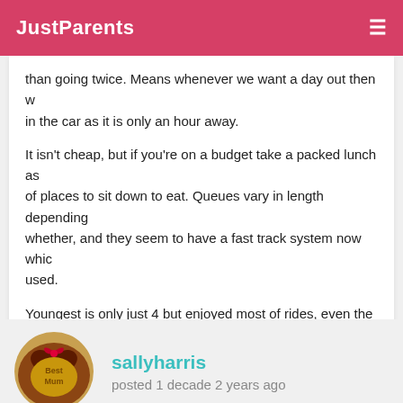JustParents
than going twice. Means whenever we want a day out then w... in the car as it is only an hour away.
It isn't cheap, but if you're on a budget take a packed lunch as... of places to sit down to eat. Queues vary in length depending... whether, and they seem to have a fast track system now whic... used.
Youngest is only just 4 but enjoyed most of rides, even the lo... too small for a couple of rides which made it difficult for the e... wanted to go on some of the rides but I couldn't leave the littl... themselves.
sallyharris
posted 1 decade 2 years ago